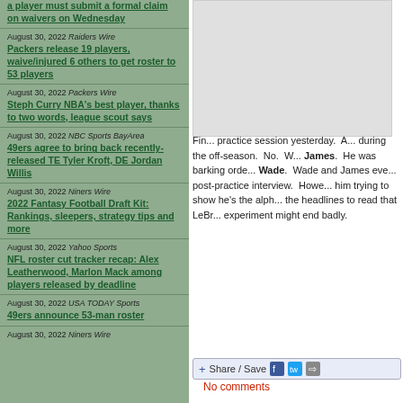a player must submit a formal claim on waivers on Wednesday
August 30, 2022 Raiders Wire
Packers release 19 players, waive/injured 6 others to get roster to 53 players
August 30, 2022 Packers Wire
Steph Curry NBA's best player, thanks to two words, league scout says
August 30, 2022 NBC Sports BayArea
49ers agree to bring back recently-released TE Tyler Kroft, DE Jordan Willis
August 30, 2022 Niners Wire
2022 Fantasy Football Draft Kit: Rankings, sleepers, strategy tips and more
August 30, 2022 Yahoo Sports
NFL roster cut tracker recap: Alex Leatherwood, Marlon Mack among players released by deadline
August 30, 2022 USA TODAY Sports
49ers announce 53-man roster
August 30, 2022 Niners Wire
[Figure (photo): Sports photo placeholder]
Fin... practice session yesterday.Â  A... during the off-season.Â  No.Â  W... James.Â  He was barking orde... Wade.Â  Wade and James eve... post-practice interview.Â  Howe... him trying to show he's the alph... the headlines to read that LeBr... experiment might end badly.
Share / Save
No comments